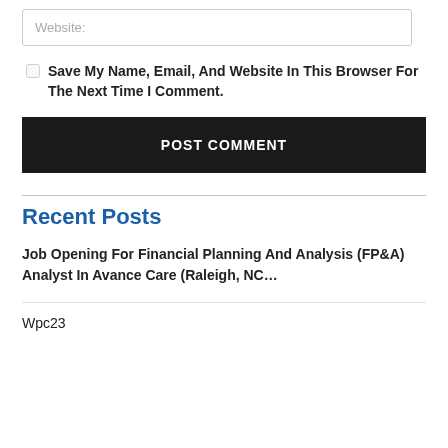Website:
Save My Name, Email, And Website In This Browser For The Next Time I Comment.
POST COMMENT
Recent Posts
Job Opening For Financial Planning And Analysis (FP&A) Analyst In Avance Care (Raleigh, NC…
Wpc23